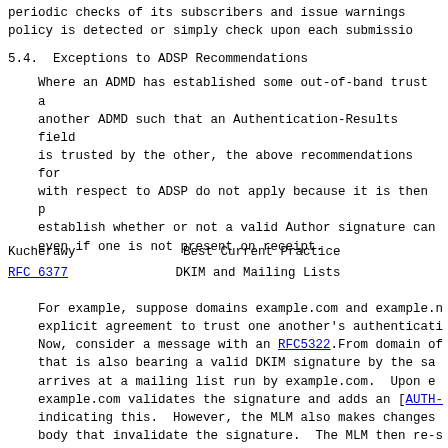periodic checks of its subscribers and issue warnings policy is detected or simply check upon each submission
5.4.  Exceptions to ADSP Recommendations
Where an ADMD has established some out-of-band trust another ADMD such that an Authentication-Results field is trusted by the other, the above recommendations for with respect to ADSP do not apply because it is then p establish whether or not a valid Author signature can even if one is not present on receipt.
Kucherawy                       Best Current Practice
RFC 6377                        DKIM and Mailing Lists
For example, suppose domains example.com and example.n explicit agreement to trust one another's authenticati Now, consider a message with an RFC5322.From domain of that is also bearing a valid DKIM signature by the sa arrives at a mailing list run by example.com.  Upon e example.com validates the signature and adds an [AUTH- indicating this.  However, the MLM also makes changes body that invalidate the signature.  The MLM then re-s